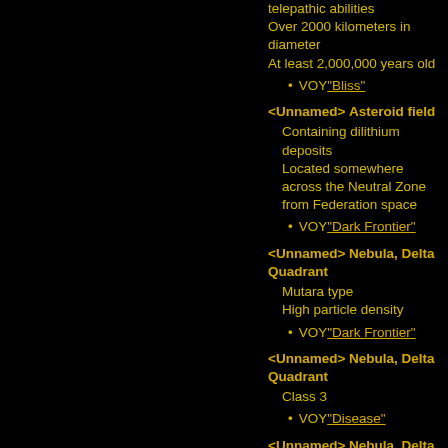telepathic abilities
Over 2000 kilometers in diameter
At least 2,000,000 years old
VOY "Bliss"
<Unnamed> Asteroid field
Containing dilithium deposits
Located somewhere across the Neutral Zone from Federation space
VOY "Dark Frontier"
<Unnamed> Nebula, Delta Quadrant
Mutara type
High particle density
VOY "Dark Frontier"
<Unnamed> Nebula, Delta Quadrant
Class 3
VOY "Disease"
<Unnamed> Nebula, Delta